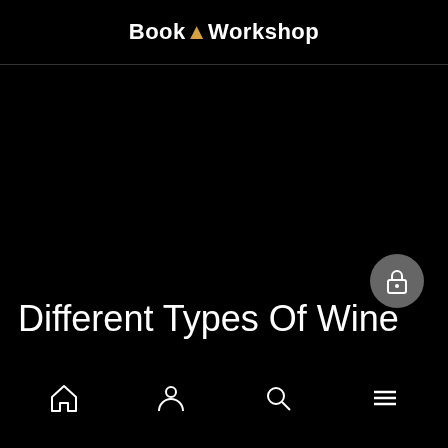BookAWorkshop
Different Types Of Wine
[Figure (screenshot): Lock/cart button icon (circular grey button with padlock/shopping bag icon)]
[Figure (screenshot): Bottom navigation bar with home, profile, search, and menu icons]